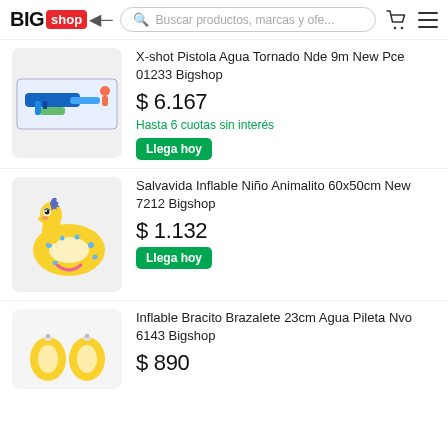BIGshop — Buscar productos, marcas y ofe...
X-shot Pistola Agua Tornado Nde 9m New Pce 01233 Bigshop
$ 6.167
Hasta 6 cuotas sin interés
Llega hoy
Salvavida Inflable Niño Animalito 60x50cm New 7212 Bigshop
$ 1.132
Llega hoy
Inflable Bracito Brazalete 23cm Agua Pileta Nvo 6143 Bigshop
$ 890